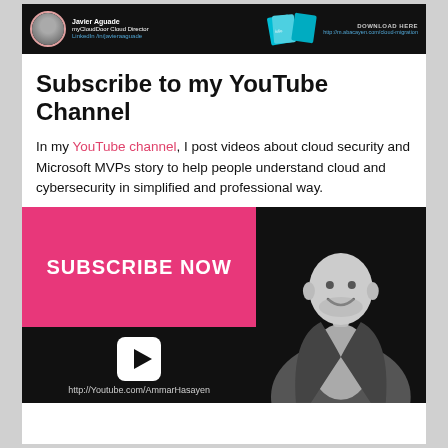[Figure (infographic): Dark header banner with avatar circle, name Javier Aguade, title myCloudDoor Cloud Director, LinkedIn /in/javieraaguade, and a book/card graphic with DOWNLOAD HERE http://m.abacayen.com/cloud-migration]
Subscribe to my YouTube Channel
In my YouTube channel, I post videos about cloud security and Microsoft MVPs story to help people understand cloud and cybersecurity in simplified and professional way.
[Figure (infographic): Dark banner with pink SUBSCRIBE NOW button on left half, YouTube play button icon and URL http://Youtube.com/AmmarHasayen below, and a black-and-white photo of a bald smiling man in a suit on the right half]